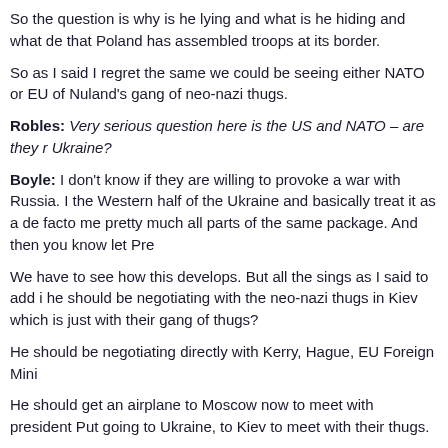So the question is why is he lying and what is he hiding and what de that Poland has assembled troops at its border.
So as I said I regret the same we could be seeing either NATO or EU of Nuland's gang of neo-nazi thugs.
Robles: Very serious question here is the US and NATO – are they r Ukraine?
Boyle: I don't know if they are willing to provoke a war with Russia. I the Western half of the Ukraine and basically treat it as a de facto me pretty much all parts of the same package. And then you know let Pre
We have to see how this develops. But all the sings as I said to add i he should be negotiating with the neo-nazi thugs in Kiev which is just with their gang of thugs?
He should be negotiating directly with Kerry, Hague, EU Foreign Mini
He should get an airplane to Moscow now to meet with president Put going to Ukraine, to Kiev to meet with their thugs.
I'm going to have to go to class here, John.
Robles: Ok, thanks a lot, I really appreciate it, Professor Boyle.
Boyle: Well again, thanks a lot.